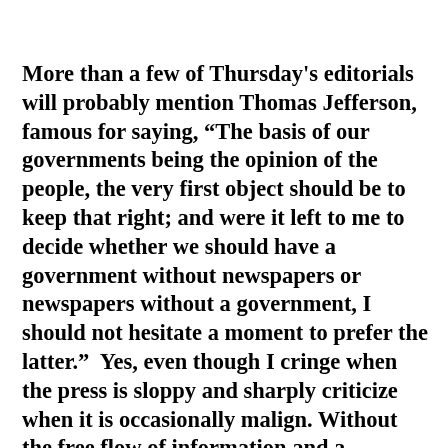More than a few of Thursday's editorials will probably mention Thomas Jefferson, famous for saying, “The basis of our governments being the opinion of the people, the very first object should be to keep that right; and were it left to me to decide whether we should have a government without newspapers or newspapers without a government, I should not hesitate a moment to prefer the latter.”  Yes, even though I cringe when the press is sloppy and sharply criticize when it is occasionally malign. Without the free flow of information and a vigorous marketplace of ideas, we cannot have an informed electorate and a